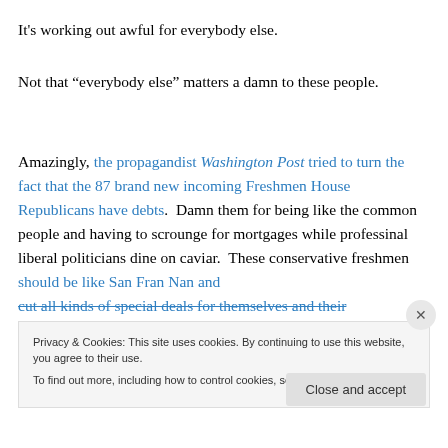It's working out awful for everybody else.
Not that “everybody else” matters a damn to these people.
Amazingly, the propagandist Washington Post tried to turn the fact that the 87 brand new incoming Freshmen House Republicans have debts.  Damn them for being like the common people and having to scrounge for mortgages while professinal liberal politicians dine on caviar.  These conservative freshmen should be like San Fran Nan and cut all kinds of special deals for themselves and their
Privacy & Cookies: This site uses cookies. By continuing to use this website, you agree to their use.
To find out more, including how to control cookies, see here: Cookie Policy